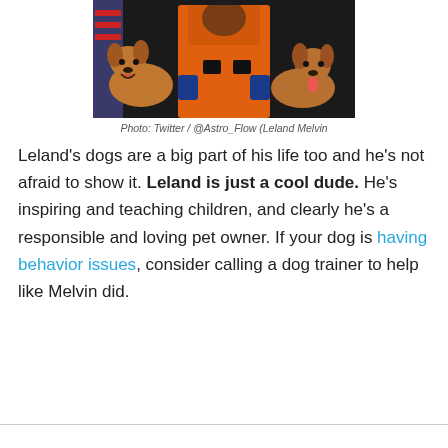[Figure (photo): Photo of two golden/brown dogs sitting on either side of a person wearing an orange NASA spacesuit, with an American flag visible in the background.]
Photo: Twitter / @Astro_Flow (Leland Melvin
Leland’s dogs are a big part of his life too and he’s not afraid to show it. Leland is just a cool dude. He’s inspiring and teaching children, and clearly he’s a responsible and loving pet owner. If your dog is having behavior issues, consider calling a dog trainer to help like Melvin did.